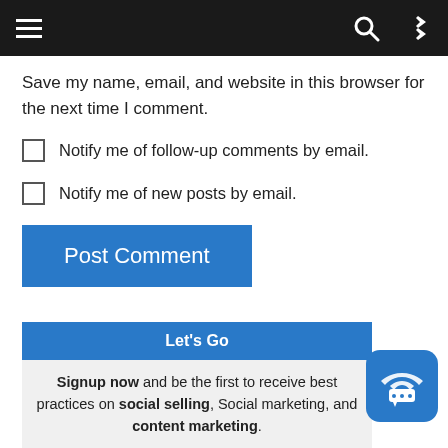[Figure (screenshot): Dark navigation bar with hamburger menu on left, search and shuffle icons on right]
Save my name, email, and website in this browser for the next time I comment.
Notify me of follow-up comments by email.
Notify me of new posts by email.
Post Comment
Let's Go
Signup now and be the first to receive best practices on social selling, Social marketing, and content marketing.
Name
Email